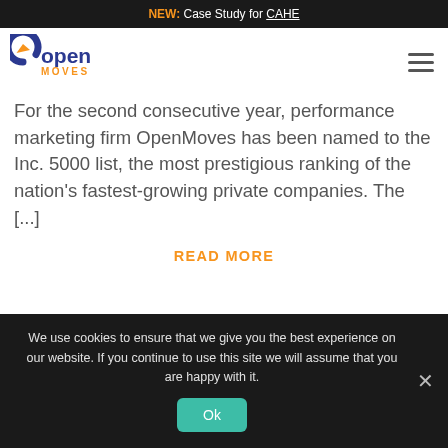NEW: Case Study for CAHE
[Figure (logo): OpenMoves logo — orange circular arrow icon with dark blue 'open' text and orange 'MOVES' text below]
For the second consecutive year, performance marketing firm OpenMoves has been named to the Inc. 5000 list, the most prestigious ranking of the nation's fastest-growing private companies. The [...]
READ MORE
We use cookies to ensure that we give you the best experience on our website. If you continue to use this site we will assume that you are happy with it.